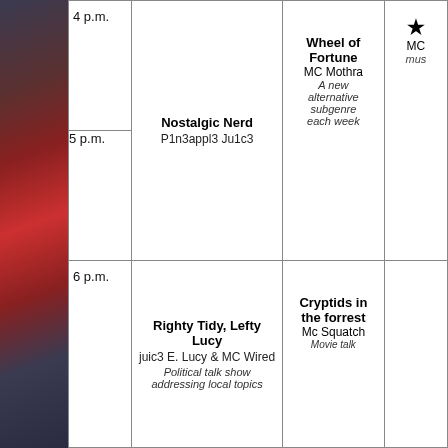[Figure (photo): Left edge decorative image strip with red and dark flag-like pattern]
| Time | Show (Ch. 2) | Show (Ch. 4) | Show (Ch. 5) |
| --- | --- | --- | --- |
| 4 p.m. | Nostalgic Nerd
P1n3appl3 Ju1c3 | Wheel of Fortune
MC Mothra
A new alternative subgenre each week | ★
MC
mus |
| 5 p.m. |  |  |  |
| 6 p.m. | Righty Tidy, Lefty Lucy
juic3 E. Lucy & MC Wired
Political talk show addressing local topics | Cryptids in the forrest
Mc Squatch
Movie talk |  |